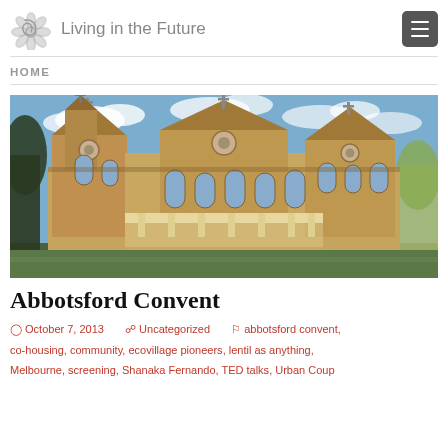Living in the Future
HOME
[Figure (photo): Photograph of Abbotsford Convent, a large Victorian-era Gothic brick building with pointed gables, crosses on the roofline, arched windows, and a covered verandah, set against a partly cloudy blue sky with trees on the sides.]
Abbotsford Convent
October 7, 2013   Uncategorized   abbotsford convent, co-housing, community, ecovillage pioneers, lentil as anything, Melbourne, screening, Shanaka Fernando, TED talks, Urban Coup